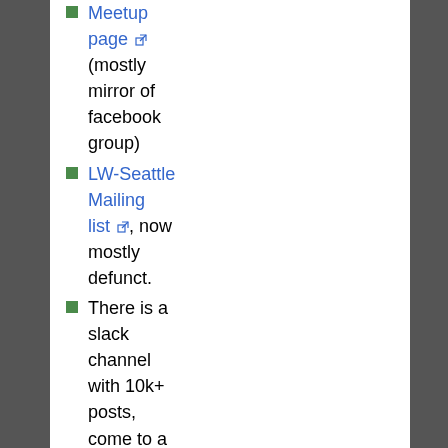Meetup page (mostly mirror of facebook group)
LW-Seattle Mailing list, now mostly defunct.
There is a slack channel with 10k+ posts, come to a reading group to get the info.
Socorro, NM
Website: